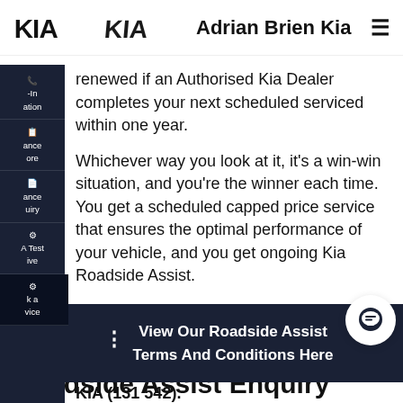Adrian Brien Kia
renewed if an Authorised Kia Dealer completes your next scheduled serviced within one year.
Whichever way you look at it, it's a win-win situation, and you're the winner each time. You get a scheduled capped price service that ensures the optimal performance of your vehicle, and you get ongoing Kia Roadside Assist.
Kia Roadside Assist is not available for vehicles over 8 years of age.
Kia Roadside Assistance number is 131 KIA (131 542).
View Our Roadside Assist Terms And Conditions Here
Roadside Assist Enquiry